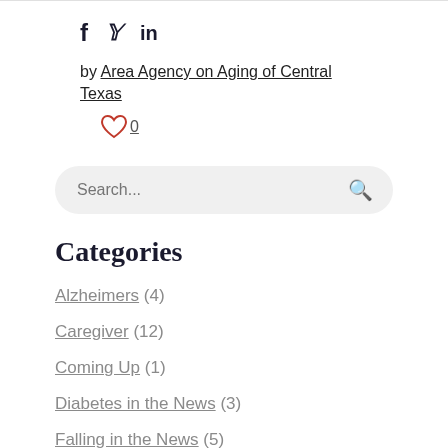f  𝕏  in
by Area Agency on Aging of Central Texas
♥ 0
Search...
Categories
Alzheimers (4)
Caregiver (12)
Coming Up (1)
Diabetes in the News (3)
Falling in the News (5)